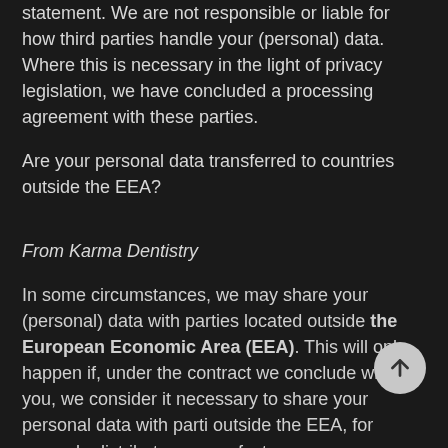statement. We are not responsible or liable for how third parties handle your (personal) data. Where this is necessary in the light of privacy legislation, we have concluded a processing agreement with these parties.
Are your personal data transferred to countries outside the EEA?
From Karma Dentistry
In some circumstances, we may share your (personal) data with parties located outside the European Economic Area (EEA). This will only happen if, under the contract we conclude with you, we consider it necessary to share your personal data with parties outside the EEA, for example distributors, manufacturers or transporters, or when offering international...